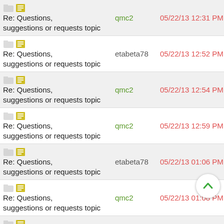Re: Questions, suggestions or requests topic | qmc2 | 05/22/13 12:31 PM
Re: Questions, suggestions or requests topic | etabeta78 | 05/22/13 12:52 PM
Re: Questions, suggestions or requests topic | qmc2 | 05/22/13 12:54 PM
Re: Questions, suggestions or requests topic | qmc2 | 05/22/13 12:59 PM
Re: Questions, suggestions or requests topic | etabeta78 | 05/22/13 01:06 PM
Re: Questions, suggestions or requests topic | qmc2 | 05/22/13 01:08 PM
Re: Questions, suggestions or requests topic | qmc2 | 05/22/13 01:33 PM
Re: Questions, suggestions or requests topic | etabeta78 | 05/22/13 02:24 PM
Re: Questions, suggestions or requests topic | qmc2 | 05/22/13 02:42 PM
Re: Questions, suggestions or requests topic | qmc2 | 05/22/13 03:40 PM